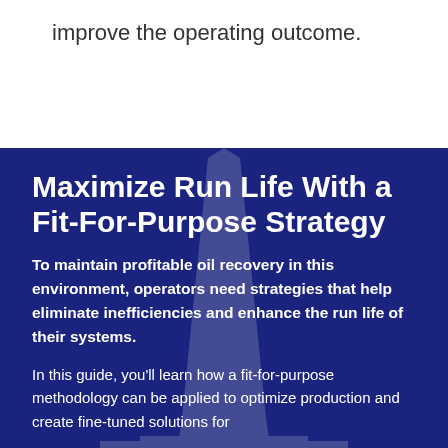improve the operating outcome.
Maximize Run Life With a Fit-For-Purpose Strategy
To maintain profitable oil recovery in this environment, operators need strategies that help eliminate inefficiencies and enhance the run life of their systems.
In this guide, you'll learn how a fit-for-purpose methodology can be applied to optimize production and create fine-tuned solutions for